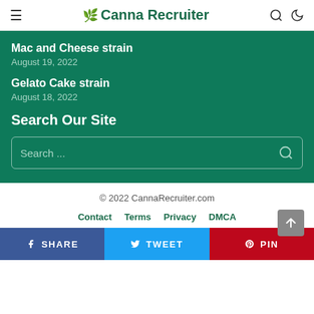≡ 🍃 Canna Recruiter
Mac and Cheese strain
August 19, 2022
Gelato Cake strain
August 18, 2022
Search Our Site
Search ...
© 2022 CannaRecruiter.com
Contact  Terms  Privacy  DMCA
SHARE  TWEET  PIN